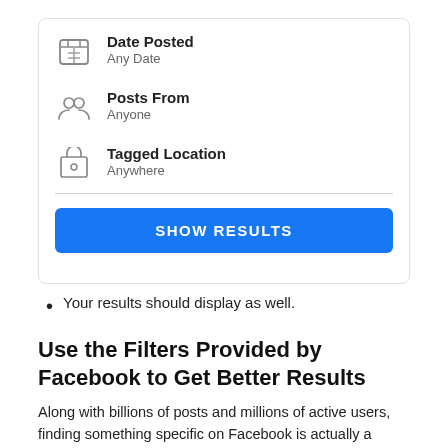[Figure (screenshot): UI screenshot showing filter options: Date Posted (Any Date), Posts From (Anyone), Tagged Location (Anywhere), with a blue SHOW RESULTS button below]
Your results should display as well.
Use the Filters Provided by Facebook to Get Better Results
Along with billions of posts and millions of active users, finding something specific on Facebook is actually a herculean task. Facebook recognized this issue and developed filters, permitting users in order to narrow down the search results on the platform. Here's how you guys can improve search results